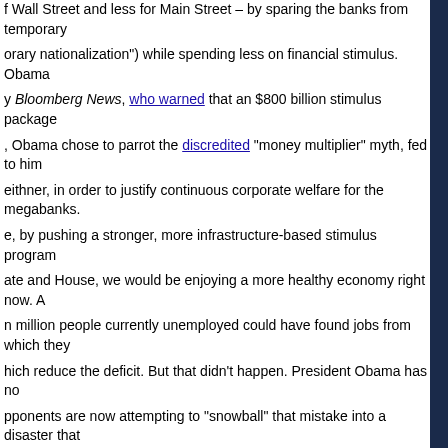f Wall Street and less for Main Street – by sparing the banks from temporary orary nationalization") while spending less on financial stimulus.  Obama y Bloomberg News, who warned that an $800 billion stimulus package , Obama chose to parrot the discredited "money multiplier" myth, fed to him eithner, in order to justify continuous corporate welfare for the megabanks. e, by pushing a stronger, more infrastructure-based stimulus program ate and House, we would be enjoying a more healthy economy right now.  A n million people currently unemployed could have found jobs from which they hich reduce the deficit.  But that didn't happen.  President Obama has no pponents are now attempting to "snowball" that mistake into a disaster that .
saw this coming back in March:
recently stated the Republican view succinctly:  "Less government spending
ther they're knaves or fools.  Now I'm sure.  Republicans wouldn't mind a and Election Day 2012.
unseat Obama.  They know that when the economy is heading downward, em knaves.
know how fragile the economy is but they're afraid to say it because the positive picture.